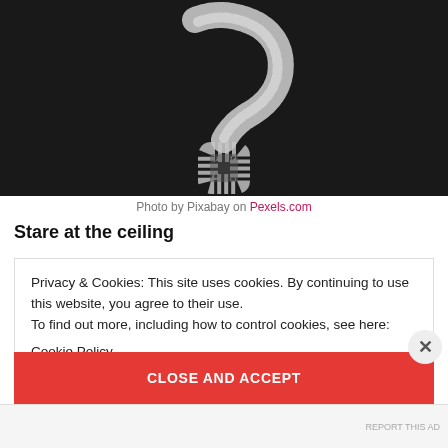[Figure (photo): A chalk question mark drawn on a dark blackboard surface, photographed close up. The question mark is white/chalk-textured against a near-black background.]
Photo by Pixabay on Pexels.com
Stare at the ceiling
Privacy & Cookies: This site uses cookies. By continuing to use this website, you agree to their use.
To find out more, including how to control cookies, see here:
Cookie Policy
CLOSE AND ACCEPT
REPORT THIS AD